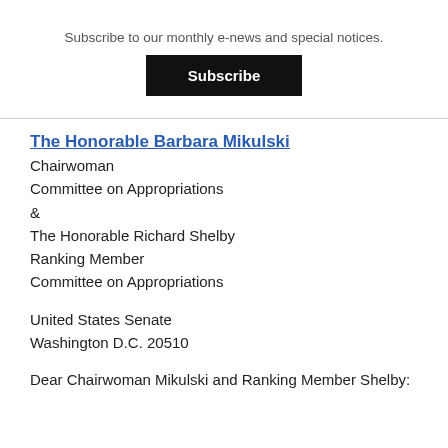Subscribe to our monthly e-news and special notices.
Subscribe
The Honorable Barbara Mikulski
Chairwoman
Committee on Appropriations
&
The Honorable Richard Shelby
Ranking Member
Committee on Appropriations

United States Senate
Washington D.C. 20510

Dear Chairwoman Mikulski and Ranking Member Shelby: